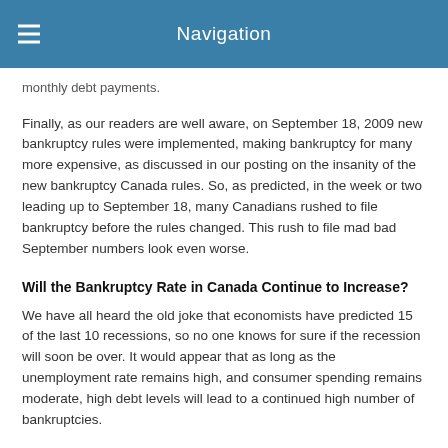Navigation
monthly debt payments.
Finally, as our readers are well aware, on September 18, 2009 new bankruptcy rules were implemented, making bankruptcy for many more expensive, as discussed in our posting on the insanity of the new bankruptcy Canada rules. So, as predicted, in the week or two leading up to September 18, many Canadians rushed to file bankruptcy before the rules changed. This rush to file mad bad September numbers look even worse.
Will the Bankruptcy Rate in Canada Continue to Increase?
We have all heard the old joke that economists have predicted 15 of the last 10 recessions, so no one knows for sure if the recession will soon be over. It would appear that as long as the unemployment rate remains high, and consumer spending remains moderate, high debt levels will lead to a continued high number of bankruptcies.